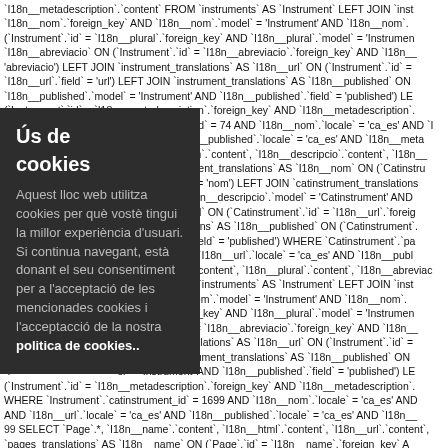SELECT `Instrument`.*, `I18n__nom`.`content`, `I18n__plural`.`content`, `I18n__abreviacio`.`content`, `I18n__metadescription`.`content` FROM `instruments` AS `Instrument` LEFT JOIN `inst` `I18n__nom`.`foreign_key` AND `I18n__nom`.`model` = 'Instrument' AND `I18n__nom`. (`Instrument`.`id` = `I18n__plural`.`foreign_key` AND `I18n__plural`.`model` = 'Instrumen' `I18n__abreviacio` ON (`Instrument`.`id` = `I18n__abreviacio`.`foreign_key` AND `I18n__` 'abreviacio') LEFT JOIN `instrument_translations` AS `I18n__url` ON (`Instrument`.`id` = `I18n__url`.`field` = 'url') LEFT JOIN `instrument_translations` AS `I18n__published` ON `I18n__published`.`model` = 'Instrument' AND `I18n__published`.`field` = 'published') LE (`Instrument`.`id` = `I18n__metadescription`.`foreign_key` AND `I18n__metadescription`. WHERE `catinstrument_id` = 74 AND `I18n__nom`.`locale` = 'ca_es' AND `I` `_es' AND `I18n__published`.`locale` = 'ca_es' AND `I18n__meta`
97 S ... `I18n__nom`.`content`, `I18n__descripcio`.`content`, `I18n__` JOIN `catinstrument_translations` AS `I18n__nom` ON (`Catinstru` `n__nom`.`field` = 'nom') LEFT JOIN `catinstrument_translations` `gn_key` AND `I18n__descripcio`.`model` = 'Catinstrument' AND `ns` AS `I18n__url` ON (`Catinstrument`.`id` = `I18n__url`.`foreig` `rument_translations` AS `I18n__published` ON (`Catinstrument`. `n__published`.`field` = 'published') WHERE `Catinstrument`.`pa` `e` = 'ca_es' AND `I18n__url`.`locale` = 'ca_es' AND `I18n__publ`
98 S ... `I18n__nom`.`content`, `I18n__plural`.`content`, `I18n__abreviac` `.content` FROM `instruments` AS `Instrument` LEFT JOIN `inst` `y` AND `I18n__nom`.`model` = 'Instrument' AND `I18n__nom`. (`__plural`.`foreign_key` AND `I18n__plural`.`model` = 'Instrumen' `I` `Instrument`.`id` = `I18n__abreviacio`.`foreign_key` AND `I18n__` `instrument_translations` AS `I18n__url` ON (`Instrument`.`id` = `I LEFT JOIN `instrument_translations` AS `I18n__published` ON `el` = 'Instrument' AND `I18n__published`.`field` = 'published') LE (`Instrument`.`id` = `I18n__metadescription`.`foreign_key` AND `I18n__metadescription`. WHERE `Instrument`.`catinstrument_id` = 1699 AND `I18n__nom`.`locale` = 'ca_es' AND AND `I18n__url`.`locale` = 'ca_es' AND `I18n__published`.`locale` = 'ca_es' AND `I18n__`
99 SELECT `Page`.*, `I18n__name`.`content`, `I18n__html`.`content`, `I18n__url`.`content` `pages_translations` AS `I18n__name` ON (`Page`.`id` = `I18n__name`.`foreign_key` A
Ús de cookies
Aquest lloc web utilitza cookies per què vostè tingui la millor experiència d'usuari. Si continua navegant, està donant el seu consentiment per a l'acceptació de les mencionades cookies i l'acceptacció de la nostra politica de cookies..